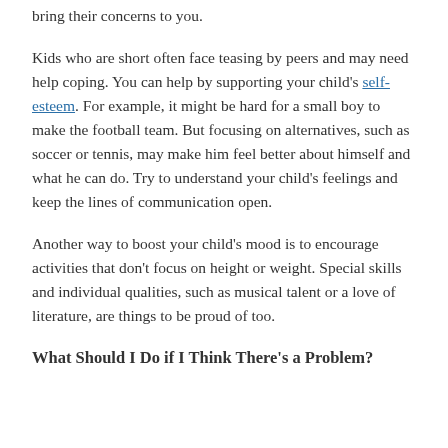bring their concerns to you.
Kids who are short often face teasing by peers and may need help coping. You can help by supporting your child's self-esteem. For example, it might be hard for a small boy to make the football team. But focusing on alternatives, such as soccer or tennis, may make him feel better about himself and what he can do. Try to understand your child's feelings and keep the lines of communication open.
Another way to boost your child's mood is to encourage activities that don't focus on height or weight. Special skills and individual qualities, such as musical talent or a love of literature, are things to be proud of too.
What Should I Do if I Think There's a Problem?